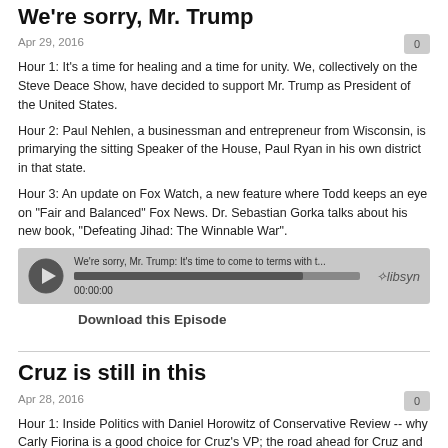We're sorry, Mr. Trump
Apr 29, 2016
Hour 1: It's a time for healing and a time for unity. We, collectively on the Steve Deace Show, have decided to support Mr. Trump as President of the United States.
Hour 2: Paul Nehlen, a businessman and entrepreneur from Wisconsin, is primarying the sitting Speaker of the House, Paul Ryan in his own district in that state.
Hour 3: An update on Fox Watch, a new feature where Todd keeps an eye on "Fair and Balanced" Fox News. Dr. Sebastian Gorka talks about his new book, "Defeating Jihad: The Winnable War".
[Figure (other): Audio player widget for podcast episode 'We're sorry, Mr. Trump: It's time to come to terms with t...' showing play button, progress bar, 00:00:00 timer, and Libsyn logo]
Download this Episode
Cruz is still in this
Apr 28, 2016
Hour 1: Inside Politics with Daniel Horowitz of Conservative Review -- why Carly Fiorina is a good choice for Cruz's VP; the road ahead for Cruz and